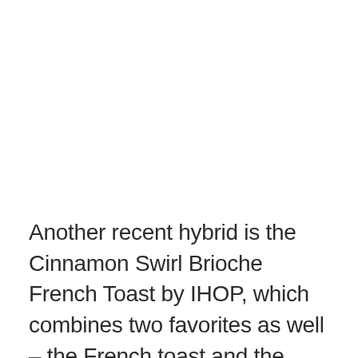Another recent hybrid is the Cinnamon Swirl Brioche French Toast by IHOP, which combines two favorites as well – the French toast and the Cinnamon swirl. In the same way, when Waffles Café introduced the wonut, it took all the best things about the waffle and the doughnut